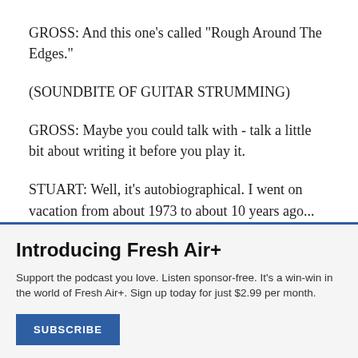GROSS: And this one's called "Rough Around The Edges."
(SOUNDBITE OF GUITAR STRUMMING)
GROSS: Maybe you could talk with - talk a little bit about writing it before you play it.
STUART: Well, it's autobiographical. I went on vacation from about 1973 to about 10 years ago...
Introducing Fresh Air+
Support the podcast you love. Listen sponsor-free. It's a win-win in the world of Fresh Air+. Sign up today for just $2.99 per month.
SUBSCRIBE